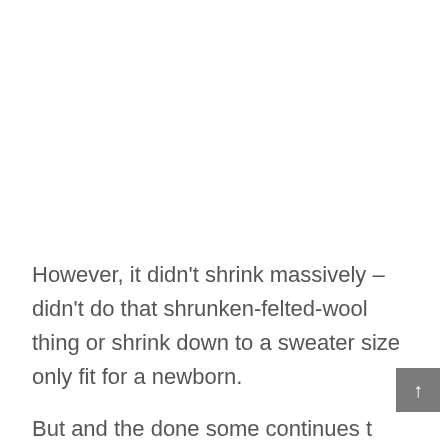However, it didn't shrink massively – didn't do that shrunken-felted-wool thing or shrink down to a sweater size only fit for a newborn.
But and the done some continues t...